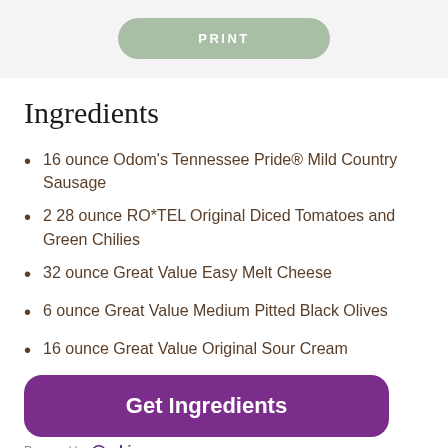[Figure (screenshot): Green rounded PRINT button]
Ingredients
16 ounce Odom's Tennessee Pride® Mild Country Sausage
2 28 ounce RO*TEL Original Diced Tomatoes and Green Chilies
32 ounce Great Value Easy Melt Cheese
6 ounce Great Value Medium Pitted Black Olives
16 ounce Great Value Original Sour Cream
[Figure (screenshot): Purple rounded 'Get Ingredients' button]
Powered by chicory